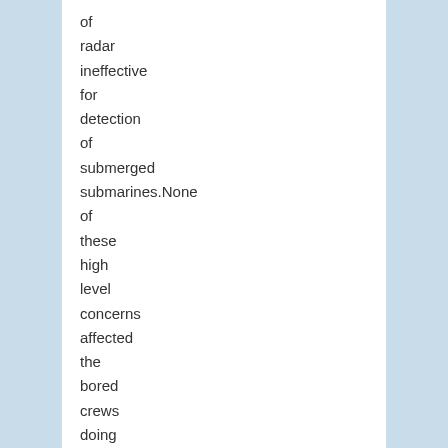of radar ineffective for detection of submerged submarines.None of these high level concerns affected the bored crews doing the flying to perfect the